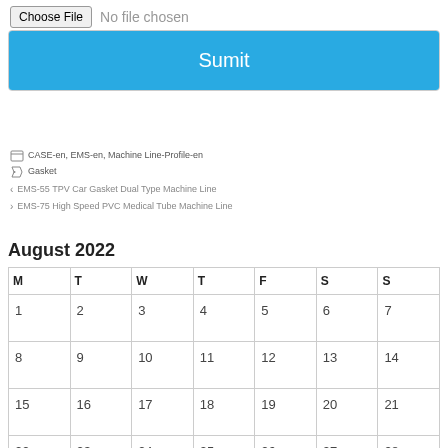[Figure (screenshot): File input element showing 'Choose File' button and 'No file chosen' text]
[Figure (screenshot): Blue 'Sumit' submit button with light border around it]
CASE-en, EMS-en, Machine Line-Profile-en
Gasket
EMS-55 TPV Car Gasket Dual Type Machine Line
EMS-75 High Speed PVC Medical Tube Machine Line
August 2022
| M | T | W | T | F | S | S |
| --- | --- | --- | --- | --- | --- | --- |
| 1 | 2 | 3 | 4 | 5 | 6 | 7 |
| 8 | 9 | 10 | 11 | 12 | 13 | 14 |
| 15 | 16 | 17 | 18 | 19 | 20 | 21 |
| 22 | 23 | 24 | 25 | 26 | 27 | 28 |